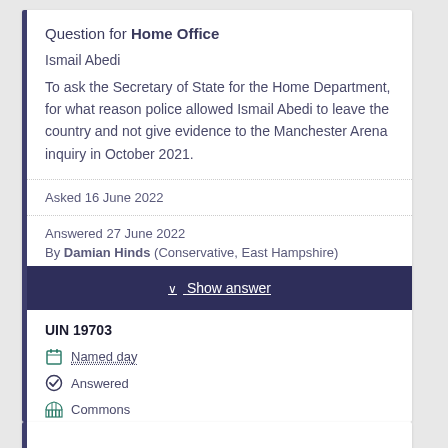Question for Home Office
Ismail Abedi
To ask the Secretary of State for the Home Department, for what reason police allowed Ismail Abedi to leave the country and not give evidence to the Manchester Arena inquiry in October 2021.
Asked 16 June 2022
Answered 27 June 2022
By Damian Hinds (Conservative, East Hampshire)
Show answer
UIN 19703
Named day
Answered
Commons